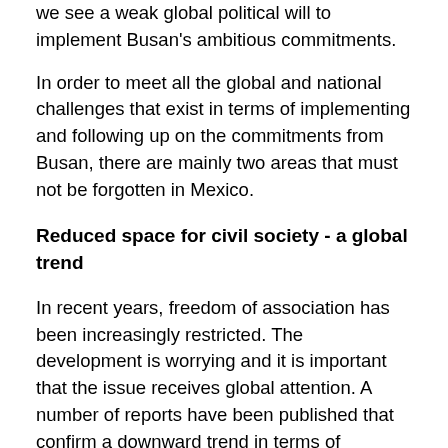we see a weak global political will to implement Busan's ambitious commitments.
In order to meet all the global and national challenges that exist in terms of implementing and following up on the commitments from Busan, there are mainly two areas that must not be forgotten in Mexico.
Reduced space for civil society - a global trend
In recent years, freedom of association has been increasingly restricted. The development is worrying and it is important that the issue receives global attention. A number of reports have been published that confirm a downward trend in terms of support, protection and conditions for organizations that want to work for sustainable, secure, democratic and just societies. The issue has been raised on several occasions by Maina Kiai, the UN Special Rapporteur on Freedom of Meeting and Association. He emphasizes that sustainable